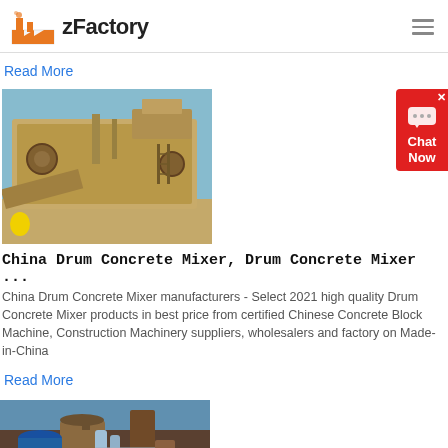zFactory
Read More
[Figure (photo): Large industrial mining or crushing machine on a desert/arid landscape, yellow-brown earthmoving equipment]
China Drum Concrete Mixer, Drum Concrete Mixer ...
China Drum Concrete Mixer manufacturers - Select 2021 high quality Drum Concrete Mixer products in best price from certified Chinese Concrete Block Machine, Construction Machinery suppliers, wholesalers and factory on Made-in-China
Read More
[Figure (photo): Industrial factory machinery with pipes and silos, brown and blue tones]